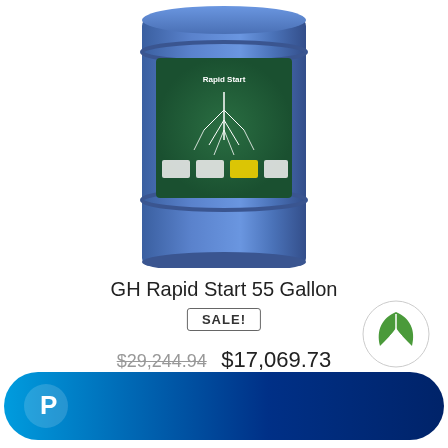[Figure (photo): A large blue 55-gallon drum/barrel with a green label showing GH Rapid Start branding with a root/tree graphic. The drum is cylindrical, blue plastic, with a label featuring white text and imagery on a green background.]
GH Rapid Start 55 Gallon
SALE!
$29,244.94  $17,069.73
[Figure (logo): Green circular logo with a leaf/plant icon inside, white background circle with green border.]
[Figure (other): PayPal payment button — a blue gradient pill-shaped button with the PayPal 'P' logo in white on the left side.]